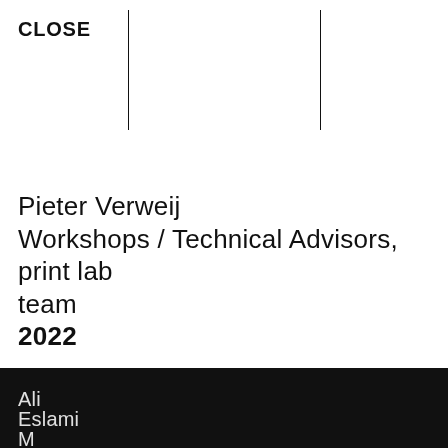CLOSE
Pieter Verweij
Workshops / Technical Advisors,
print lab
team
2022
Ali
Eslami
M...